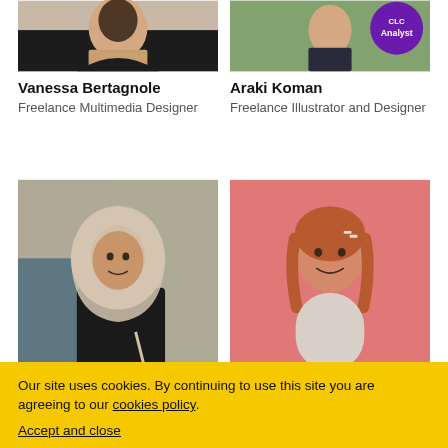[Figure (photo): Photo of Vanessa Bertagnole (top portion, cropped)]
[Figure (photo): Photo of Araki Koman with purple analyst badge (top portion, cropped)]
Vanessa Bertagnole
Freelance Multimedia Designer
Araki Koman
Freelance Illustrator and Designer
[Figure (photo): Photo of woman wearing hijab at a café]
[Figure (photo): Photo of smiling woman with red hair against pink background]
Our site uses cookies. By continuing to use this site you are agreeing to our cookies policy.
Accept and close